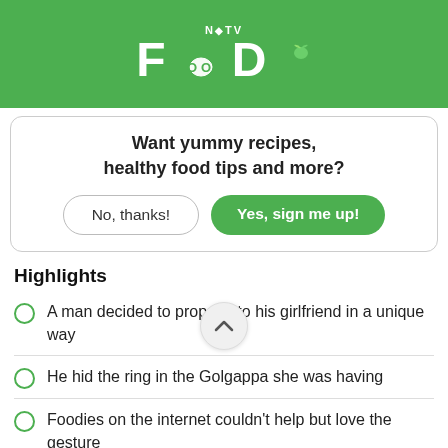NDTV FOOD
Want yummy recipes, healthy food tips and more?
No, thanks! | Yes, sign me up!
Highlights
A man decided to propose to his girlfriend in a unique way
He hid the ring in the Golgappa she was having
Foodies on the internet couldn't help but love the gesture
The love for Golgappe is truly unparalleled in India. Whether you know it as Pani Puri or Puchka, Batasho